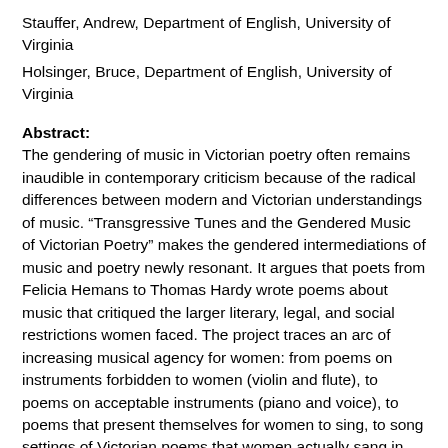Stauffer, Andrew, Department of English, University of Virginia
Holsinger, Bruce, Department of English, University of Virginia
Abstract:
The gendering of music in Victorian poetry often remains inaudible in contemporary criticism because of the radical differences between modern and Victorian understandings of music. “Transgressive Tunes and the Gendered Music of Victorian Poetry” makes the gendered intermediations of music and poetry newly resonant. It argues that poets from Felicia Hemans to Thomas Hardy wrote poems about music that critiqued the larger literary, legal, and social restrictions women faced. The project traces an arc of increasing musical agency for women: from poems on instruments forbidden to women (violin and flute), to poems on acceptable instruments (piano and voice), to poems that present themselves for women to sing, to song settings of Victorian poems that women actually sang in the parlor. By juxtaposing poems about the gendering of music with evidence from a rich cultural archive including periodicals, musical treatises, concert reviews, and satirical